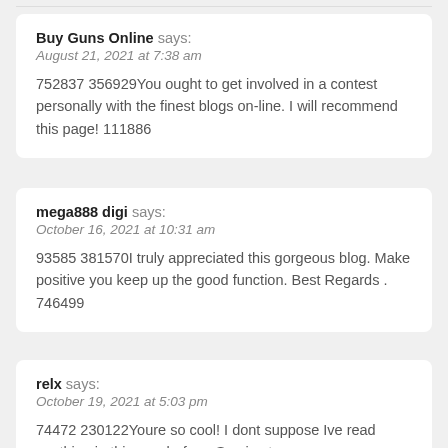Buy Guns Online says:
August 21, 2021 at 7:38 am
752837 356929You ought to get involved in a contest personally with the finest blogs on-line. I will recommend this page! 111886
mega888 digi says:
October 16, 2021 at 10:31 am
93585 381570I truly appreciated this gorgeous blog. Make positive you keep up the good function. Best Regards . 746499
relx says:
October 19, 2021 at 5:03 pm
74472 230122Youre so cool! I dont suppose Ive read anything in this way before. So nice to